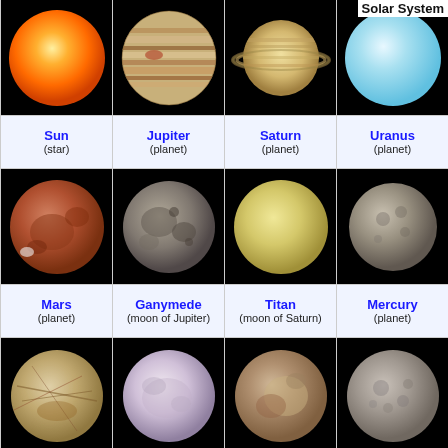Solar System
[Figure (illustration): Grid of solar system bodies showing Sun, Jupiter, Saturn, Uranus in row 1; Mars, Ganymede, Titan, Mercury in row 2; Europa, Triton, Pluto, Titania in row 3. Each body shown as a photographic sphere on black background with name and type label.]